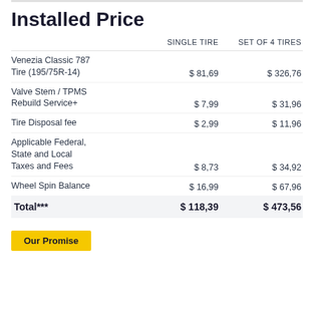Installed Price
|  | SINGLE TIRE | SET OF 4 TIRES |
| --- | --- | --- |
| Venezia Classic 787 Tire (195/75R-14) | $ 81,69 | $ 326,76 |
| Valve Stem / TPMS Rebuild Service+ | $ 7,99 | $ 31,96 |
| Tire Disposal fee | $ 2,99 | $ 11,96 |
| Applicable Federal, State and Local Taxes and Fees | $ 8,73 | $ 34,92 |
| Wheel Spin Balance | $ 16,99 | $ 67,96 |
| Total*** | $ 118,39 | $ 473,56 |
Our Promise